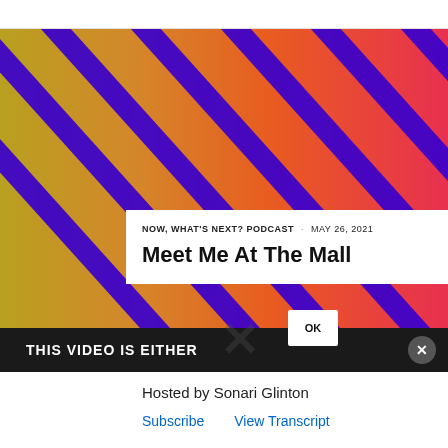[Figure (photo): Colorful diagonal stripes in purple, gold, orange, and red/pink colors forming an abstract background image for a podcast episode.]
NOW, WHAT'S NEXT? PODCAST · MAY 26, 2021
Meet Me At The Mall
OK
THIS VIDEO IS EITHER
Hosted by Sonari Glinton
Subscribe
View Transcript